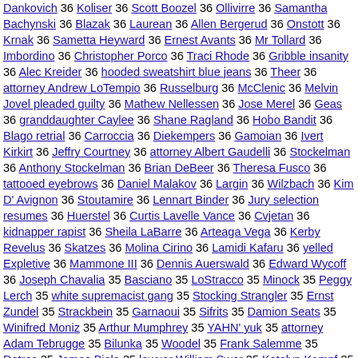Dankovich 36 Koliser 36 Scott Boozel 36 Ollivirre 36 Samantha Bachynski 36 Blazak 36 Laurean 36 Allen Bergerud 36 Onstott 36 Krnak 36 Sametta Heyward 36 Ernest Avants 36 Mr Tollard 36 Imbordino 36 Christopher Porco 36 Traci Rhode 36 Gribble insanity 36 Alec Kreider 36 hooded sweatshirt blue jeans 36 Theer 36 attorney Andrew LoTempio 36 Russelburg 36 McClenic 36 Melvin Jovel pleaded guilty 36 Mathew Nellessen 36 Jose Merel 36 Geas 36 granddaughter Caylee 36 Shane Ragland 36 Hobo Bandit 36 Blago retrial 36 Carroccia 36 Diekempers 36 Gamoian 36 Ivert Kirkirt 36 Jeffry Courtney 36 attorney Albert Gaudelli 36 Stockelman 36 Anthony Stockelman 36 Brian DeBeer 36 Theresa Fusco 36 tattooed eyebrows 36 Daniel Malakov 36 Largin 36 Wilzbach 36 Kim D' Avignon 36 Stoutamire 36 Lennart Binder 36 Jury selection resumes 36 Huerstel 36 Curtis Lavelle Vance 36 Cvjetan 36 kidnapper rapist 36 Sheila LaBarre 36 Arteaga Vega 36 Kerby Revelus 36 Skatzes 36 Molina Cirino 36 Lamidi Kafaru 36 yelled Expletive 36 Mammone III 36 Dennis Auerswald 36 Edward Wycoff 36 Joseph Chavalia 35 Basciano 35 LoStracco 35 Minock 35 Peggy Lerch 35 white supremacist gang 35 Stocking Strangler 35 Ernst Zundel 35 Strackbein 35 Garnaoui 35 Sifrits 35 Damion Seats 35 Winifred Moniz 35 Arthur Mumphrey 35 YAHN' yuk 35 attorney Adam Tebrugge 35 Bilunka 35 Woodel 35 Frank Salemme 35 Detres 35 James Biela 35 lawyer William Swor 35 Katelyn Kampf 35 Suspected serial rapist 35 Jaycee Dugard kidnapper 35 Remsik Miller 35 Iromuanya 35 Maureen Auerswald